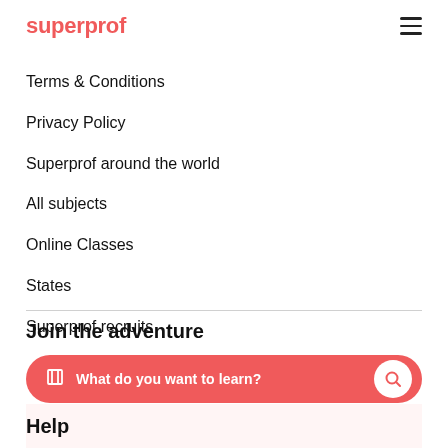superprof
Terms & Conditions
Privacy Policy
Superprof around the world
All subjects
Online Classes
States
Superprof recruits
Join the adventure
What do you want to learn?
Help